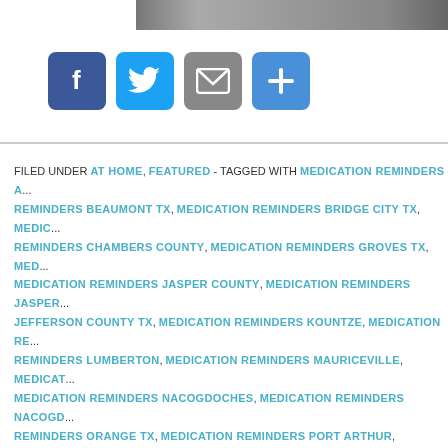[Figure (photo): Partial grayscale photo at top of page]
[Figure (infographic): Social sharing icons: Facebook (blue), Twitter (light blue), Email (gray), Plus/Share (blue)]
FILED UNDER AT HOME, FEATURED - TAGGED WITH MEDICATION REMINDERS A... REMINDERS BEAUMONT TX, MEDICATION REMINDERS BRIDGE CITY TX, MEDICATION REMINDERS CHAMBERS COUNTY, MEDICATION REMINDERS GROVES TX, MEDICATION REMINDERS JASPER COUNTY, MEDICATION REMINDERS JASPER... JEFFERSON COUNTY TX, MEDICATION REMINDERS KOUNTZE, MEDICATION REMINDERS LUMBERTON, MEDICATION REMINDERS MAURICEVILLE, MEDICATION REMINDERS NACOGDOCHES, MEDICATION REMINDERS NACOGDOCHES... REMINDERS ORANGE TX, MEDICATION REMINDERS PORT ARTHUR, MEDICATION REMINDERS SETX, MEDICATION REMINDERS SILSBEE, MEDICATION REMINDERS TYLER COUNTY, MEDICATION REMINDERS VIDOR, MEDICATION REMINDERS NACOGDOCHES COUNTY, SENIOR CARE ANGELINA COUNTY, SENIOR CARE BRIDGE CITY TX, SENIOR CARE BUNA, SENIOR CARE CHAMBERS COUNTY, SENIOR CARE... COUNTY, SENIOR CARE JASPER COUNTY, SENIOR CARE JASPER TX, SENIOR CARE KOUNTZE, SENIOR CARE LUFKIN, SENIOR CARE LUMBERTON, SENIOR CARE... COUNTY, SENIOR CARE NACOGDOCHES, SENIOR CARE NACOGDOCHES COUNTY, SENIOR CARE PORT ARTHUR, SENIOR CARE PORT NECHES, SENIOR CARE SETX, SENIOR CARE SPURGER, SENIOR CARE TYLER COUNTY, SENIOR CARE VIDOR, SENIOR CARE...